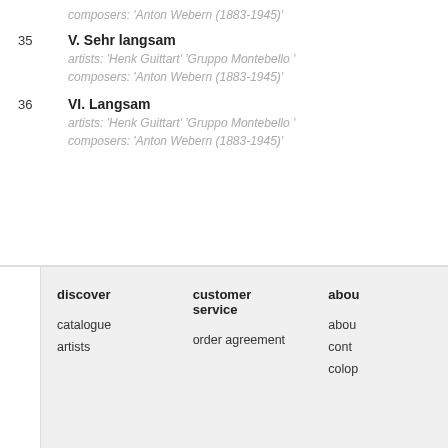composers: 'Anton Webern (1883-1945)'
35  V. Sehr langsam
artists: 'Henk Guittart' 'Gruppo Montebello'
composers: 'Anton Webern (1883-1945)'
36  VI. Langsam
artists: 'Henk Guittart' 'Gruppo Montebello'
composers: 'Anton Webern (1883-1945)'
discover
catalogue
artists
customer service
order agreement
about
about
contact
colophon